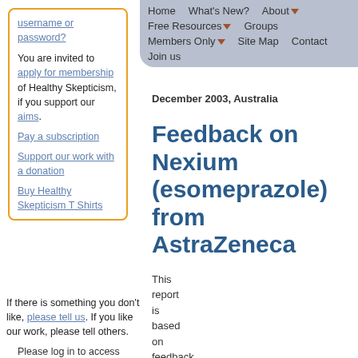Home | What's New? | About | Free Resources | Groups | Members Only | Site Map | Contact | Join us
username or password?
You are invited to apply for membership of Healthy Skepticism, if you support our aims.
Pay a subscription
Support our work with a donation
Buy Healthy Skepticism T Shirts
If there is something you don't like, please tell us. If you like our work, please tell others.
Please log in to access sharing tools.
December 2003, Australia
Feedback on Nexium (esomeprazole) from AstraZeneca
This report is based on feedback from